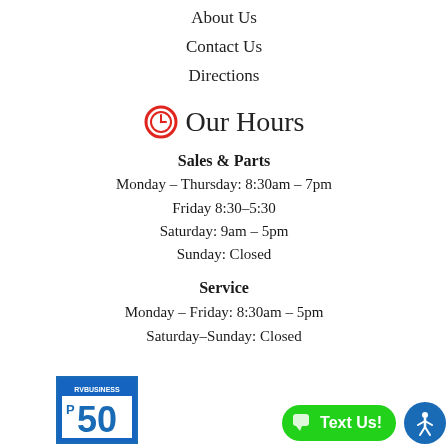About Us
Contact Us
Directions
Our Hours
Sales & Parts
Monday - Thursday: 8:30am - 7pm
Friday 8:30-5:30
Saturday: 9am - 5pm
Sunday: Closed
Service
Monday - Friday: 8:30am - 5pm
Saturday-Sunday: Closed
[Figure (logo): RV Business top 50 badge]
[Figure (other): Green Text Us button with accessibility icon]